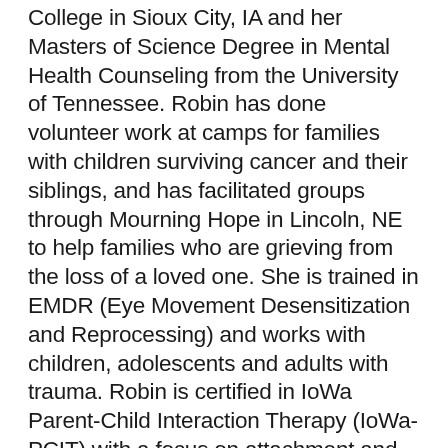College in Sioux City, IA and her Masters of Science Degree in Mental Health Counseling from the University of Tennessee. Robin has done volunteer work at camps for families with children surviving cancer and their siblings, and has facilitated groups through Mourning Hope in Lincoln, NE to help families who are grieving from the loss of a loved one. She is trained in EMDR (Eye Movement Desensitization and Reprocessing) and works with children, adolescents and adults with trauma. Robin is certified in IoWa Parent-Child Interaction Therapy (IoWa-PCIT) with a focus on attachment and certified to train this modality. She has been trained in Circle of Security and ACES and enjoys providing supervision to therapists to help develop their strengths and skills as well. Robin and her husband are parents to three children and several pets.